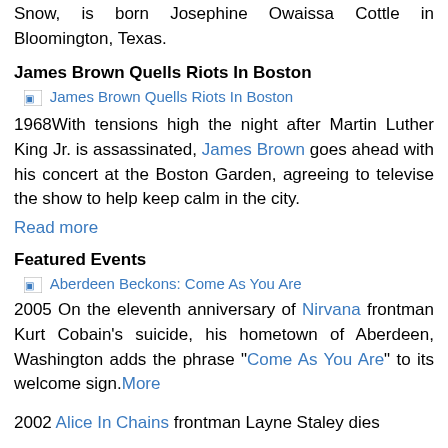Snow, is born Josephine Owaissa Cottle in Bloomington, Texas.
James Brown Quells Riots In Boston
[Figure (illustration): Image placeholder link: James Brown Quells Riots In Boston]
1968With tensions high the night after Martin Luther King Jr. is assassinated, James Brown goes ahead with his concert at the Boston Garden, agreeing to televise the show to help keep calm in the city. Read more
Featured Events
[Figure (illustration): Image placeholder link: Aberdeen Beckons: Come As You Are]
2005 On the eleventh anniversary of Nirvana frontman Kurt Cobain's suicide, his hometown of Aberdeen, Washington adds the phrase "Come As You Are" to its welcome sign. More
2002 Alice In Chains frontman Layne Staley dies